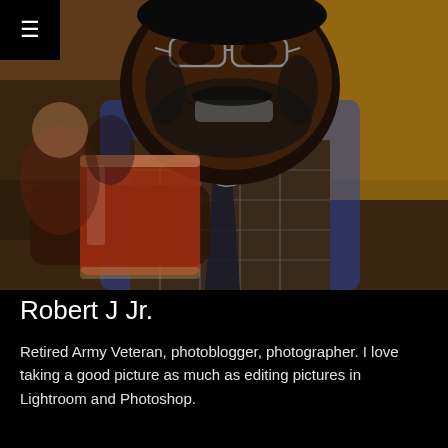[Figure (photo): A smiling Black man with a beard and glasses holding up a glass of red/amber drink toward the camera. He is wearing a plaid vest over a dress shirt with a tie. The background shows an indoor restaurant or bar setting with other people and warm lighting. A hamburger menu icon (≡) appears in the top-left corner over a black square.]
Robert J Jr.
Retired Army Veteran, photoblogger, photographer. I love taking a good picture as much as editing pictures in Lightroom and Photoshop.